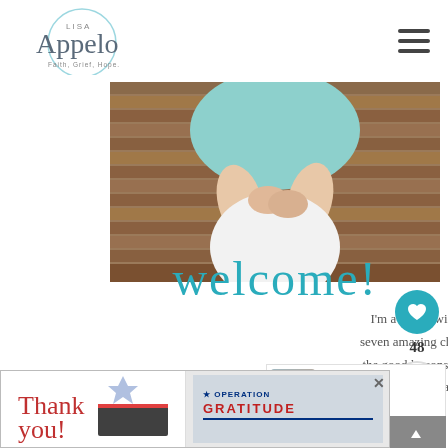Lisa Appelo — Faith, Grief, Hope
[Figure (photo): Woman sitting on wooden steps wearing teal top and white pants, hands crossed on lap]
welcome!
I'm a recent widow and single mom to seven amazing children, here I share all of the good lessons God is teaching as He is so true and faithful to us.
[Figure (infographic): WHAT'S NEXT → When You Need Real...]
[Figure (screenshot): Advertisement: Thank you! Operation Gratitude banner ad with firefighters]